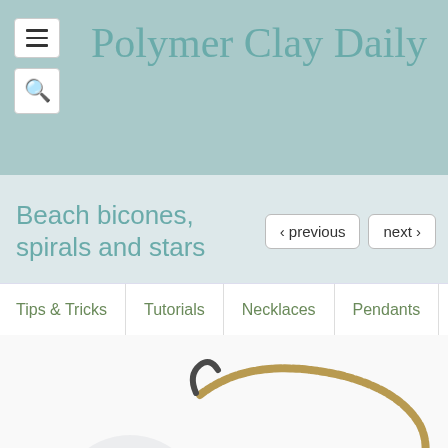Polymer Clay Daily
Beach bicones, spirals and stars
‹ previous   next ›
Tips & Tricks | Tutorials | Necklaces | Pendants | Earrings
[Figure (photo): Polymer clay jewelry necklace with beach-themed bicones, spirals and stars in blue-grey and bronze tones, displayed on white background]